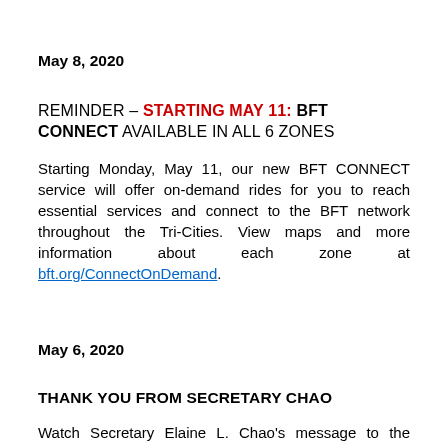May 8, 2020
REMINDER – STARTING MAY 11: BFT CONNECT AVAILABLE IN ALL 6 ZONES
Starting Monday, May 11, our new BFT CONNECT service will offer on-demand rides for you to reach essential services and connect to the BFT network throughout the Tri-Cities. View maps and more information about each zone at bft.org/ConnectOnDemand.
May 6, 2020
THANK YOU FROM SECRETARY CHAO
Watch Secretary Elaine L. Chao's message to the thousands of public transit employees that are still on the job in communities all across the country. This includes BFT's dedicated staff who transport police, doctors, nurses, grocery store clerks and other essential workers to and